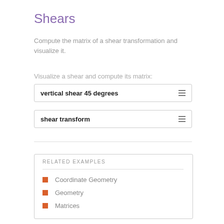Shears
Compute the matrix of a shear transformation and visualize it.
Visualize a shear and compute its matrix:
vertical shear 45 degrees
shear transform
RELATED EXAMPLES
Coordinate Geometry
Geometry
Matrices